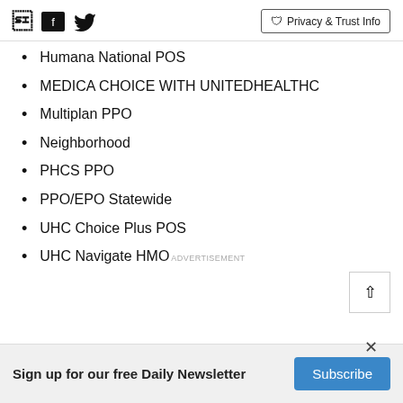Facebook Twitter | Privacy & Trust Info
Humana National POS
MEDICA CHOICE WITH UNITEDHEALTHC
Multiplan PPO
Neighborhood
PHCS PPO
PPO/EPO Statewide
UHC Choice Plus POS
UHC Navigate HMO
ADVERTISEMENT
Sign up for our free Daily Newsletter  Subscribe